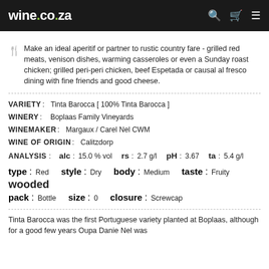wine.co.za
Make an ideal aperitif or partner to rustic country fare - grilled red meats, venison dishes, warming casseroles or even a Sunday roast chicken; grilled peri-peri chicken, beef Espetada or causal al fresco dining with fine friends and good cheese.
VARIETY : Tinta Barocca [ 100% Tinta Barocca ]
WINERY : Boplaas Family Vineyards
WINEMAKER : Margaux / Carel Nel CWM
WINE OF ORIGIN : Calitzdorp
ANALYSIS : alc : 15.0 % vol   rs : 2.7 g/l   pH : 3.67   ta : 5.4 g/l
type : Red   style : Dry   body : Medium   taste : Fruity
wooded
pack : Bottle   size : 0   closure : Screwcap
Tinta Barocca was the first Portuguese variety planted at Boplaas, although for a good few years Oupa Danie Nel was